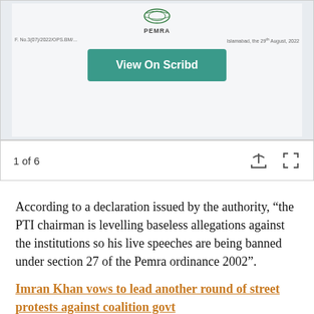[Figure (screenshot): PEMRA document preview shown on Scribd with a teal 'View On Scribd' button overlay, document header showing F.No.3(07)/2022/OPS.BM/... and Islamabad date, 29th August 2022]
1 of 6
According to a declaration issued by the authority, “the PTI chairman is levelling baseless allegations against the institutions so his live speeches are being banned under section 27 of the Pemra ordinance 2002”.
Imran Khan vows to lead another round of street protests against coalition govt
The authority says the statements of Imran Khan against the officers and institutions constitute a violation of the